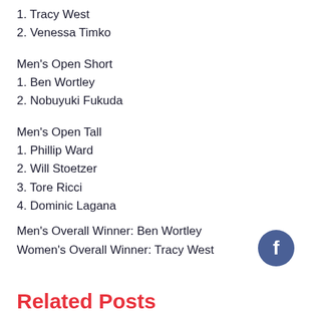1. Tracy West
2. Venessa Timko
Men's Open Short
1. Ben Wortley
2. Nobuyuki Fukuda
Men's Open Tall
1. Phillip Ward
2. Will Stoetzer
3. Tore Ricci
4. Dominic Lagana
Men's Overall Winner: Ben Wortley
Women's Overall Winner: Tracy West
[Figure (logo): Facebook circular icon with 'f' logo in blue]
Related Posts